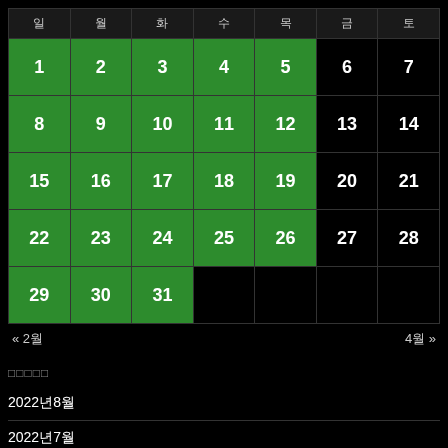| 일 | 월 | 화 | 수 | 목 | 금 | 토 |
| --- | --- | --- | --- | --- | --- | --- |
| 1 | 2 | 3 | 4 | 5 | 6 | 7 |
| 8 | 9 | 10 | 11 | 12 | 13 | 14 |
| 15 | 16 | 17 | 18 | 19 | 20 | 21 |
| 22 | 23 | 24 | 25 | 26 | 27 | 28 |
| 29 | 30 | 31 |  |  |  |  |
« 2월                                                    4월 »
□□□□□
2022년8월
2022년7월
2022년6월
2022년5월